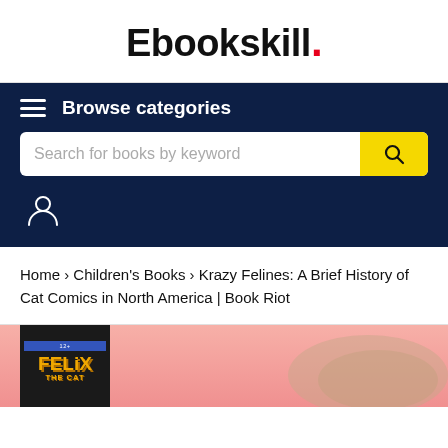Ebookskill.
Browse categories
Search for books by keyword
Home › Children's Books › Krazy Felines: A Brief History of Cat Comics in North America | Book Riot
[Figure (illustration): Book cover showing Felix the Cat with a pink background, book titled FELIX THE CAT in yellow letters on dark background]